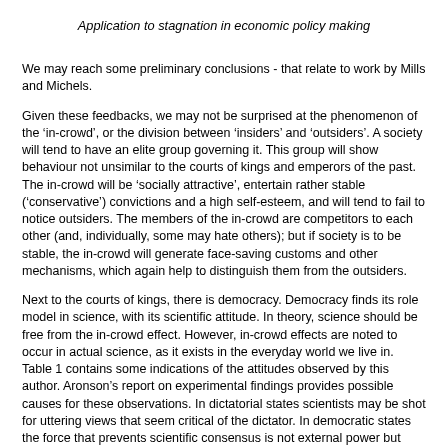Application to stagnation in economic policy making
We may reach some preliminary conclusions - that relate to work by Mills and Michels.
Given these feedbacks, we may not be surprised at the phenomenon of the ‘in-crowd’, or the division between ‘insiders’ and ‘outsiders’. A society will tend to have an elite group governing it. This group will show behaviour not unsimilar to the courts of kings and emperors of the past. The in-crowd will be ‘socially attractive’, entertain rather stable (‘conservative’) convictions and a high self-esteem, and will tend to fail to notice outsiders. The members of the in-crowd are competitors to each other (and, individually, some may hate others); but if society is to be stable, the in-crowd will generate face-saving customs and other mechanisms, which again help to distinguish them from the outsiders.
Next to the courts of kings, there is democracy. Democracy finds its role model in science, with its scientific attitude. In theory, science should be free from the in-crowd effect. However, in-crowd effects are noted to occur in actual science, as it exists in the everyday world we live in. Table 1 contains some indications of the attitudes observed by this author. Aronson’s report on experimental findings provides possible causes for these observations. In dictatorial states scientists may be shot for uttering views that seem critical of the dictator. In democratic states the force that prevents scientific consensus is not external power but internal lure. In-crowd people in plush jobs may live in a delusion of their own goodness and wisdom. The moral code can be not to criticise one another - and the